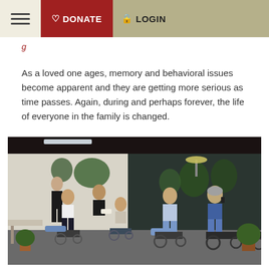DONATE LOGIN
As a loved one ages, memory and behavioral issues become apparent and they are getting more serious as time passes. Again, during and perhaps forever, the life of everyone in the family is changed.
[Figure (photo): Several people in wheelchairs in an indoor rehabilitation or care facility, with plants and lighting visible in the background. Caregivers are also present.]